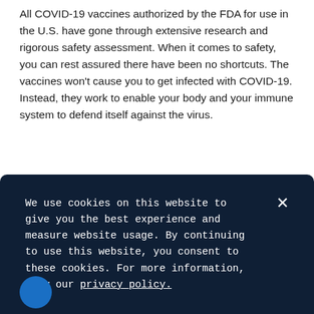All COVID-19 vaccines authorized by the FDA for use in the U.S. have gone through extensive research and rigorous safety assessment. When it comes to safety, you can rest assured there have been no shortcuts. The vaccines won't cause you to get infected with COVID-19. Instead, they work to enable your body and your immune system to defend itself against the virus.
What about side effects?
Like with anything introduced into your body, there could be mild side effects. But the COVID-19 vaccines have been
We use cookies on this website to give you the best experience and measure website usage. By continuing to use this website, you consent to these cookies. For more information, view our privacy policy.